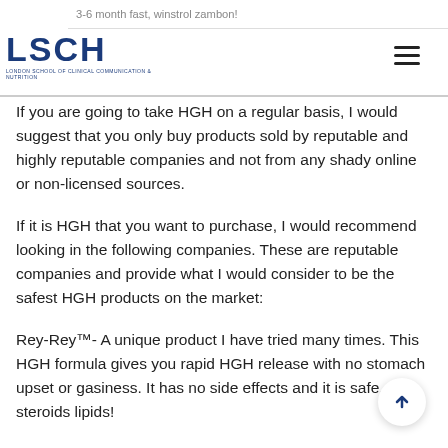3-6 month fast, winstrol zambon!
[Figure (logo): LSCH London School of Clinical Communication & Nutrition logo]
If you are going to take HGH on a regular basis, I would suggest that you only buy products sold by reputable and highly reputable companies and not from any shady online or non-licensed sources.
If it is HGH that you want to purchase, I would recommend looking in the following companies. These are reputable companies and provide what I would consider to be the safest HGH products on the market:
Rey-Rey™- A unique product I have tried many times. This HGH formula gives you rapid HGH release with no stomach upset or gasiness. It has no side effects and it is safe, steroids lipids!
Cervical Fertilization (CF) – A wonderful medicine for women who want to be stronger